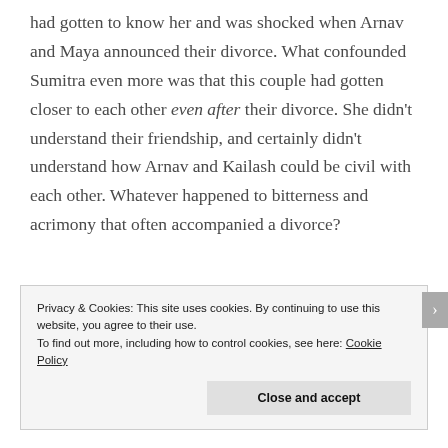had gotten to know her and was shocked when Arnav and Maya announced their divorce. What confounded Sumitra even more was that this couple had gotten closer to each other even after their divorce. She didn't understand their friendship, and certainly didn't understand how Arnav and Kailash could be civil with each other. Whatever happened to bitterness and acrimony that often accompanied a divorce?
Privacy & Cookies: This site uses cookies. By continuing to use this website, you agree to their use.
To find out more, including how to control cookies, see here: Cookie Policy